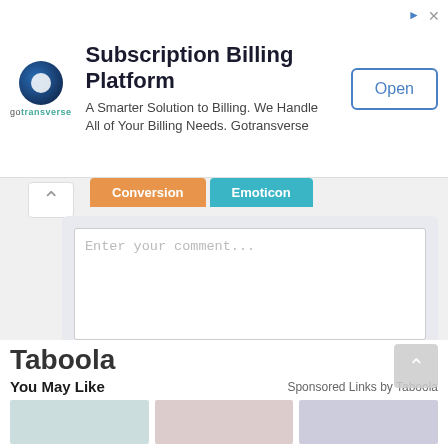[Figure (screenshot): Advertisement banner for Gotransverse Subscription Billing Platform with logo, tagline, and Open button]
Subscription Billing Platform
A Smarter Solution to Billing. We Handle All of Your Billing Needs. Gotransverse
Open
Conversion
Emoticon
Enter your comment...
Comment as:
Google Account
Publish
Preview
Taboola
You May Like
Sponsored Links by Taboola